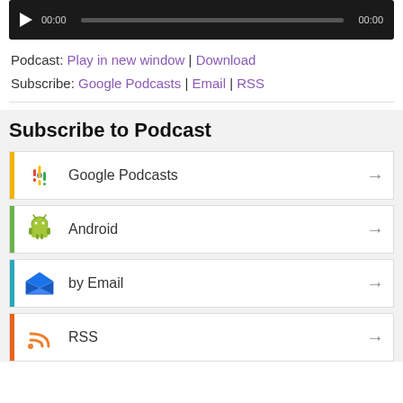[Figure (screenshot): Audio player widget with play button, timer showing 00:00, progress bar, and end time 00:00]
Podcast: Play in new window | Download
Subscribe: Google Podcasts | Email | RSS
Subscribe to Podcast
Google Podcasts
Android
by Email
RSS